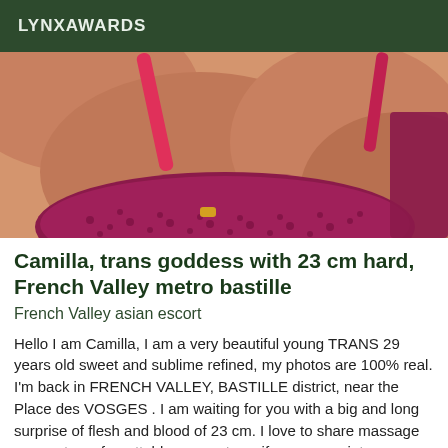LYNXAWARDS
[Figure (photo): Close-up photo of a person wearing a pink/magenta lace bralette, showing chest and décolletage area against skin-toned background]
Camilla, trans goddess with 23 cm hard, French Valley metro bastille
French Valley asian escort
Hello I am Camilla, I am a very beautiful young TRANS 29 years old sweet and sublime refined, my photos are 100% real. I'm back in FRENCH VALLEY, BASTILLE district, near the Place des VOSGES . I am waiting for you with a big and long surprise of flesh and blood of 23 cm. I love to share massage moments, unforgettable moments so if you appreciate discretion and